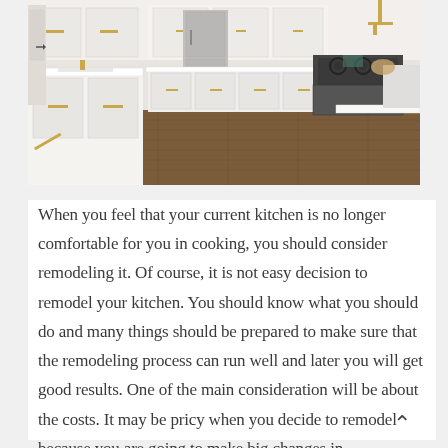[Figure (photo): Modern white kitchen with gold/brass hardware, white shaker cabinets, white quartz countertops, dark hardwood floors, stainless steel appliances including a large range with gas burners, and a farmhouse sink with a gold faucet. The kitchen has an island in the foreground and runs straight back with upper and lower cabinets.]
When you feel that your current kitchen is no longer comfortable for you in cooking, you should consider remodeling it. Of course, it is not easy decision to remodel your kitchen. You should know what you should do and many things should be prepared to make sure that the remodeling process can run well and later you will get good results. One of the main consideration will be about the costs. It may be pricy when you decide to remodel because you are going to make big changes in